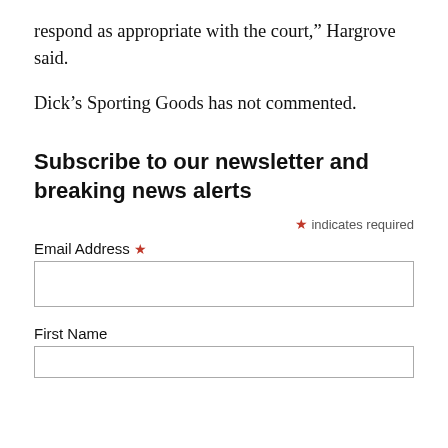respond as appropriate with the court,” Hargrove said.
Dick’s Sporting Goods has not commented.
Subscribe to our newsletter and breaking news alerts
* indicates required
Email Address *
First Name